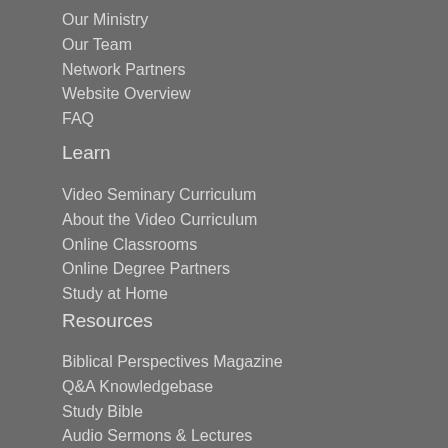Our Ministry
Our Team
Network Partners
Website Overview
FAQ
Learn
Video Seminary Curriculum
About the Video Curriculum
Online Classrooms
Online Degree Partners
Study at Home
Resources
Biblical Perspectives Magazine
Q&A Knowledgebase
Study Bible
Audio Sermons & Lectures
4 the World Podcast
Electronic Books